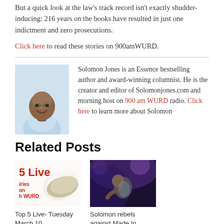But a quick look at the law's track record isn't exactly shudder-inducing: 216 years on the books have resulted in just one indictment and zero prosecutions.
Click here to read these stories on 900amWURD.
Solomon Jones is an Essence bestselling author and award-winning columnist. He is the creator and editor of Solomonjones.com and morning host on 900 am WURD radio. Click here to learn more about Solomon
Related Posts
Top 5 Live- Tuesday March 10...
Solomon rebels against Made In America...